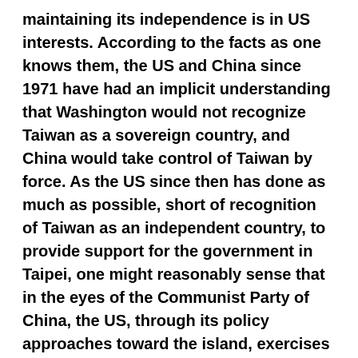maintaining its independence is in US interests. According to the facts as one knows them, the US and China since 1971 have had an implicit understanding that Washington would not recognize Taiwan as a sovereign country, and China would take control of Taiwan by force. As the US since then has done as much as possible, short of recognition of Taiwan as an independent country, to provide support for the government in Taipei, one might reasonably sense that in the eyes of the Communist Party of China, the US, through its policy approaches toward the island, exercises its power over China. There is an art in the way Xi moves. If there is a way he can take control of Taiwan with acceptable loss by his calculus, he will very likely act.
[partial line cut off at bottom]